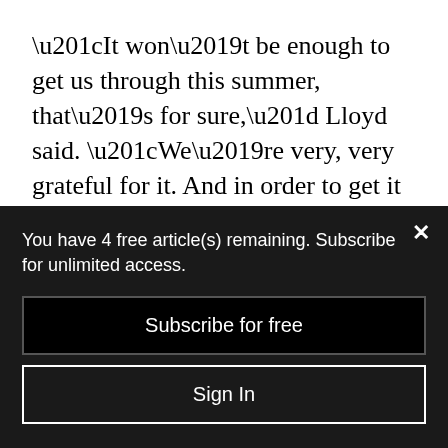“It won’t be enough to get us through this summer, that’s for sure,” Lloyd said. “We’re very, very grateful for it. And in order to get it out the door, I think that was the methodology they had to use to get it to the institutions very quickly.”
For his institution, he said, the amount
You have 4 free article(s) remaining. Subscribe for unlimited access.
Subscribe for free
Sign In